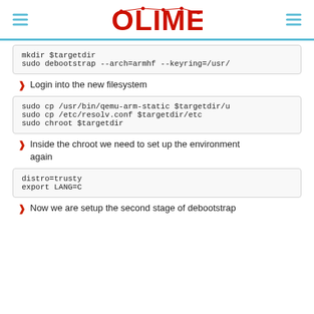OLIMEX
mkdir $targetdir
sudo debootstrap --arch=armhf --keyring=/usr/
Login into the new filesystem
sudo cp /usr/bin/qemu-arm-static $targetdir/u
sudo cp /etc/resolv.conf $targetdir/etc
sudo chroot $targetdir
Inside the chroot we need to set up the environment again
distro=trusty
export LANG=C
Now we are setup the second stage of debootstrap